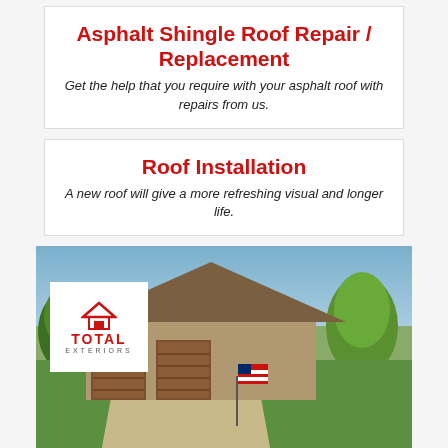Asphalt Shingle Roof Repair / Replacement
Get the help that you require with your asphalt roof with repairs from us.
Roof Installation
A new roof will give a more refreshing visual and longer life.
[Figure (photo): Aerial/eye-level photo of a single-story brick home with brown garage doors, green lawn, concrete driveway, American flag, and trees. A white logo box for 'Total Exteriors' overlaid top-left. A 'BEFORE' badge overlaid bottom-right.]